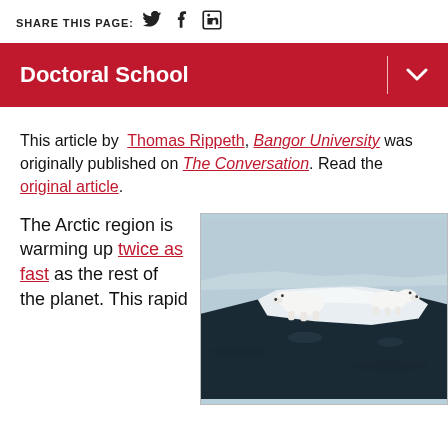SHARE THIS PAGE: [Twitter] [Facebook] [LinkedIn]
Doctoral School
This article by Thomas Rippeth, Bangor University was originally published on The Conversation. Read the original article.
The Arctic region is warming up twice as fast as the rest of the planet. This rapid
[Figure (photo): Two polar bears standing on ice floe surrounded by dark water]